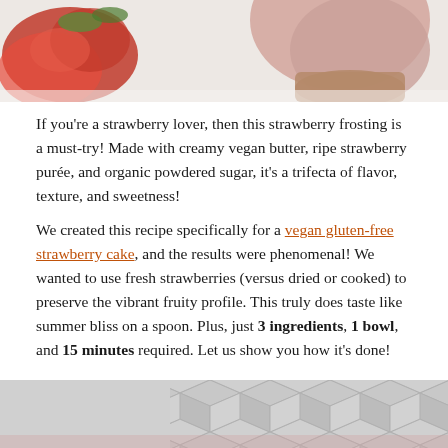[Figure (photo): Top portion of a food photo showing sliced fresh strawberries on the left and a pink frosted cake or dessert on the right, on a white surface.]
If you're a strawberry lover, then this strawberry frosting is a must-try! Made with creamy vegan butter, ripe strawberry purée, and organic powdered sugar, it's a trifecta of flavor, texture, and sweetness!
We created this recipe specifically for a vegan gluten-free strawberry cake, and the results were phenomenal! We wanted to use fresh strawberries (versus dried or cooked) to preserve the vibrant fruity profile. This truly does taste like summer bliss on a spoon. Plus, just 3 ingredients, 1 bowl, and 15 minutes required. Let us show you how it's done!
[Figure (photo): Bottom partial image showing a geometric hexagon/diamond pattern background in gray tones, appearing to be the top of the next image section.]